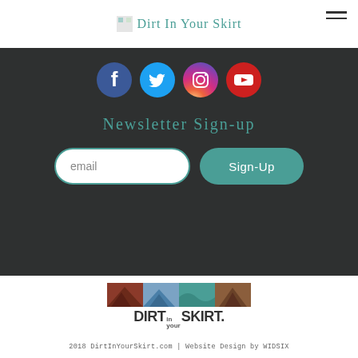Dirt In Your Skirt
[Figure (screenshot): Social media icons: Facebook (blue), Twitter (light blue), Instagram (gradient), YouTube (red), all circular]
Newsletter Sign-up
email [input field] | Sign-Up [button]
[Figure (logo): Dirt In Your Skirt logo with four mountain/wave panels in red, blue, teal, brown, and bold text DIRT in your SKIRT]
2018 DirtInYourSkirt.com | Website Design by WIDSIX